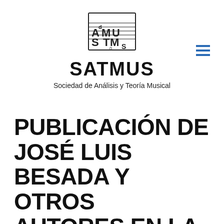[Figure (logo): SATMUS logo — stylized musical notation with letters A, M, U, S, T, M, S arranged to resemble a music staff with notes]
SATMUS
Sociedad de Análisis y Teoría Musical
PUBLICACIÓN DE JOSÉ LUIS BESADA Y OTROS AUTORES EN LA REVISTA MUSIC ANALYSIS